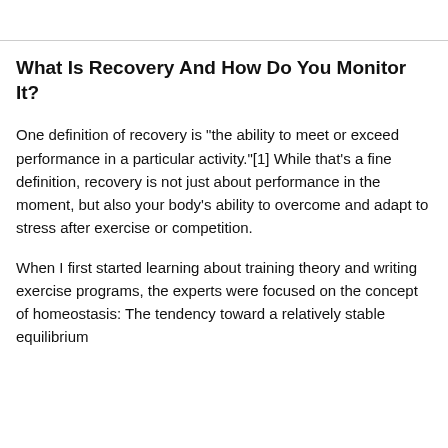What Is Recovery And How Do You Monitor It?
One definition of recovery is "the ability to meet or exceed performance in a particular activity."[1] While that's a fine definition, recovery is not just about performance in the moment, but also your body's ability to overcome and adapt to stress after exercise or competition.
When I first started learning about training theory and writing exercise programs, the experts were focused on the concept of homeostasis: The tendency toward a relatively stable equilibrium